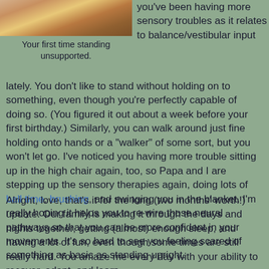[Figure (photo): Photo of a baby or child, partially visible at the top of the page, cropped]
Your first time standing unsupported.
you've been having more sensory troubles as it relates to balance/vestibular input lately. You don't like to stand without holding on to something, even though you're perfectly capable of doing so. (You figured it out about a week before your first birthday.) Similarly, you can walk around just fine holding onto hands or a "walker" of some sort, but you won't let go. I've noticed you having more trouble sitting up in the high chair again, too, so Papa and I are stepping up the sensory therapies again, doing lots of ball time, brushing, and swinging you in the blanket. I'm really hoping it helps you to re-wire those neural pathways so that you can be more confident in your movements. It's so hard to see you feeling scared of something as basic as standing upright.
Alright, love, that's it for the long (two months' worth!) update. Our family is making it through the days and nights together, getting (almost) enough sleep, and having a lot of fun, even though some times are still really hard. You amaze me every day with your ability to recover, adapt, and learn something.